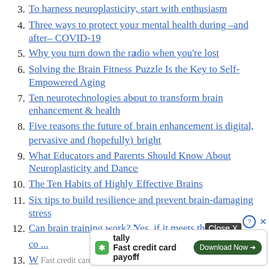3. To harness neuroplasticity, start with enthusiasm
4. Three ways to protect your mental health during –and after– COVID-19
5. Why you turn down the radio when you're lost
6. Solving the Brain Fitness Puzzle Is the Key to Self-Empowered Aging
7. Ten neurotechnologies about to transform brain enhancement & health
8. Five reasons the future of brain enhancement is digital, pervasive and (hopefully) bright
9. What Educators and Parents Should Know About Neuroplasticity and Dance
10. The Ten Habits of Highly Effective Brains
11. Six tips to build resilience and prevent brain-damaging stress
12. Can brain training work? Yes, if it meets these co...
13. W...em?
14. Fi...